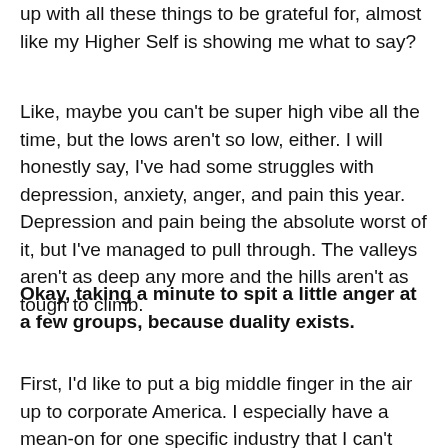up with all these things to be grateful for, almost like my Higher Self is showing me what to say?
Like, maybe you can't be super high vibe all the time, but the lows aren't so low, either. I will honestly say, I've had some struggles with depression, anxiety, anger, and pain this year. Depression and pain being the absolute worst of it, but I've managed to pull through. The valleys aren't as deep any more and the hills aren't as tough to climb.
Okay, taking a minute to spit a little anger at a few groups, because duality exists.
First, I'd like to put a big middle finger in the air up to corporate America. I especially have a mean-on for one specific industry that I can't mention here for the